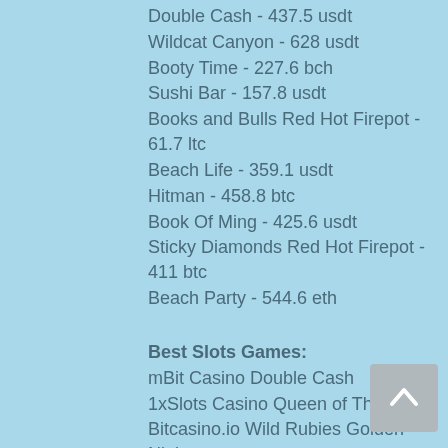Double Cash - 437.5 usdt
Wildcat Canyon - 628 usdt
Booty Time - 227.6 bch
Sushi Bar - 157.8 usdt
Books and Bulls Red Hot Firepot - 61.7 ltc
Beach Life - 359.1 usdt
Hitman - 458.8 btc
Book Of Ming - 425.6 usdt
Sticky Diamonds Red Hot Firepot - 411 btc
Beach Party - 544.6 eth
Best Slots Games:
mBit Casino Double Cash
1xSlots Casino Queen of Thrones
Bitcasino.io Wild Rubies Golden Nights
Bitcoin Penguin Casino Fruitilicious
FortuneJack Casino James Dean
CryptoGames Space Neon
Vegas Crest Casino Esmeralda
1xSlots Casino Beetle Star
1xSlots Casino Dracula Riches